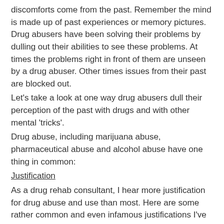discomforts come from the past. Remember the mind is made up of past experiences or memory pictures. Drug abusers have been solving their problems by dulling out their abilities to see these problems. At times the problems right in front of them are unseen by a drug abuser. Other times issues from their past are blocked out.
Let's take a look at one way drug abusers dull their perception of the past with drugs and with other mental 'tricks'.
Drug abuse, including marijuana abuse, pharmaceutical abuse and alcohol abuse have one thing in common:
Justification
As a drug rehab consultant, I hear more justification for drug abuse and use than most. Here are some rather common and even infamous justifications I've heard over the years.
Mental Justifications:
They don't understand
I just need one more hit, then it'll be OK